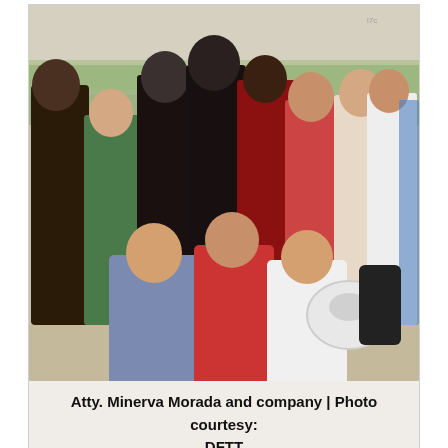[Figure (photo): Group photo of Atty. Minerva Morada and company, some members in costume armor/period dress, outdoors on a sandy area with trees in background.]
Atty. Minerva Morada and company | Photo courtesy: DFTT
Among the passengers were Atty. Minerva Morada, Regional Director of the Department of Tourism (DOT) MIMAROPA and company as well as our very own kababayan, Ambassador Ariel Rodelas Penaranda of the Department of Foreign Affairs (DFA). They welcomed by the provincial government headed by...